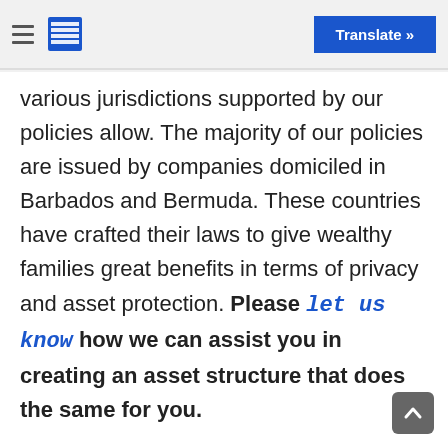Translate »
various jurisdictions supported by our policies allow. The majority of our policies are issued by companies domiciled in Barbados and Bermuda. These countries have crafted their laws to give wealthy families great benefits in terms of privacy and asset protection. Please let us know how we can assist you in creating an asset structure that does the same for you.